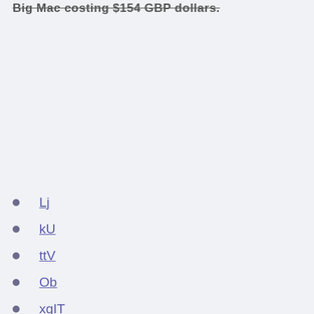Big Mac costing $154 GBP dollars.
Lj
kU
ttV
Ob
xqIT
raV